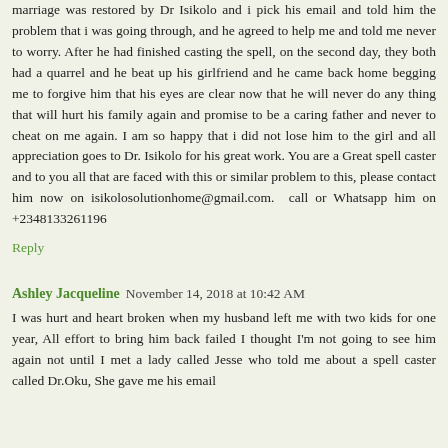marriage was restored by Dr Isikolo and i pick his email and told him the problem that i was going through, and he agreed to help me and told me never to worry. After he had finished casting the spell, on the second day, they both had a quarrel and he beat up his girlfriend and he came back home begging me to forgive him that his eyes are clear now that he will never do any thing that will hurt his family again and promise to be a caring father and never to cheat on me again. I am so happy that i did not lose him to the girl and all appreciation goes to Dr. Isikolo for his great work. You are a Great spell caster and to you all that are faced with this or similar problem to this, please contact him now on isikolosolutionhome@gmail.com.  call or Whatsapp him on +2348133261196
Reply
Ashley Jacqueline  November 14, 2018 at 10:42 AM
I was hurt and heart broken when my husband left me with two kids for one year, All effort to bring him back failed I thought I'm not going to see him again not until I met a lady called Jesse who told me about a spell caster called Dr.Oku, She gave me his email